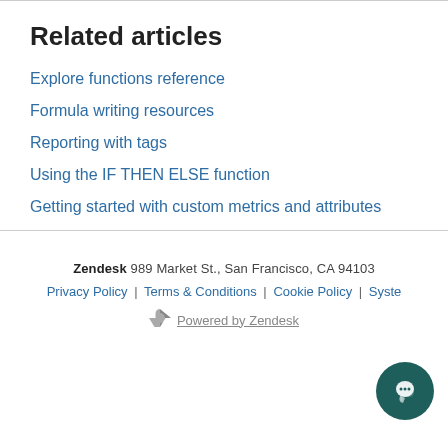Related articles
Explore functions reference
Formula writing resources
Reporting with tags
Using the IF THEN ELSE function
Getting started with custom metrics and attributes
Zendesk 989 Market St., San Francisco, CA 94103
Privacy Policy | Terms & Conditions | Cookie Policy | Syste
Powered by Zendesk